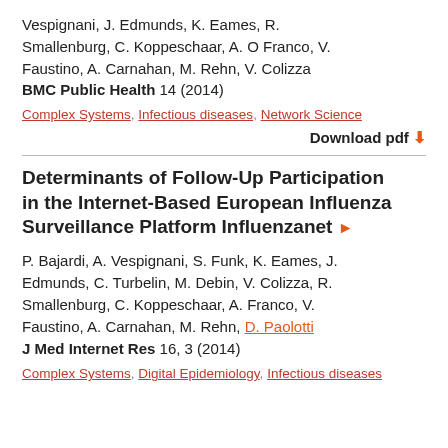Vespignani, J. Edmunds, K. Eames, R. Smallenburg, C. Koppeschaar, A. O Franco, V. Faustino, A. Carnahan, M. Rehn, V. Colizza BMC Public Health 14 (2014)
Complex Systems, Infectious diseases, Network Science
Download pdf ↓
Determinants of Follow-Up Participation in the Internet-Based European Influenza Surveillance Platform Influenzanet ▶
P. Bajardi, A. Vespignani, S. Funk, K. Eames, J. Edmunds, C. Turbelin, M. Debin, V. Colizza, R. Smallenburg, C. Koppeschaar, A. Franco, V. Faustino, A. Carnahan, M. Rehn, D. Paolotti J Med Internet Res 16, 3 (2014)
Complex Systems, Digital Epidemiology, Infectious diseases